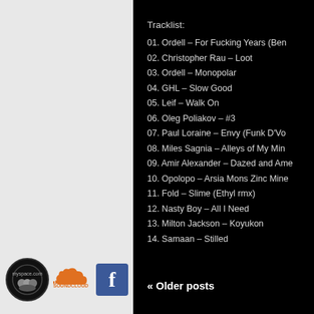Tracklist:
01. Ordell – For Fucking Years (Ben...
02. Christopher Rau – Loot
03. Ordell – Monopolar
04. GHL – Slow Good
05. Leif – Walk On
06. Oleg Poliakov  – #3
07. Paul Loraine – Envy (Funk D'Vo...
08. Miles Sagnia  – Alleys of My Min...
09. Amir Alexander – Dazed and Am...
10. Opolopo – Arsia Mons Zinc Mine...
11. Fold – Slime (Ethyl rmx)
12. Nasty Boy – All I Need
13. Milton Jackson – Koyukon
14. Samaan – Stilled
« Older posts
[Figure (logo): Myspace logo circle icon]
[Figure (logo): SoundCloud orange cloud logo]
[Figure (logo): Facebook blue square with white F]